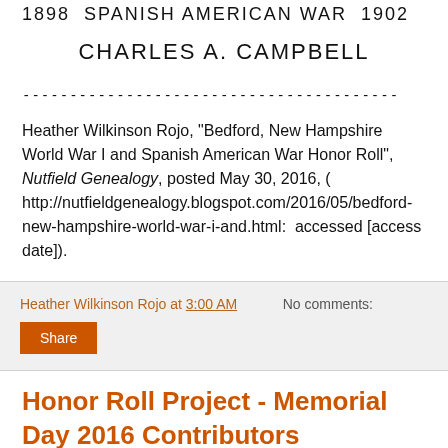1898  SPANISH AMERICAN WAR  1902
CHARLES A. CAMPBELL
----------------------------------------
Heather Wilkinson Rojo, "Bedford, New Hampshire World War I and Spanish American War Honor Roll", Nutfield Genealogy, posted May 30, 2016, ( http://nutfieldgenealogy.blogspot.com/2016/05/bedford-new-hampshire-world-war-i-and.html:  accessed [access date]).
Heather Wilkinson Rojo at 3:00 AM    No comments:
Share
Honor Roll Project - Memorial Day 2016 Contributors